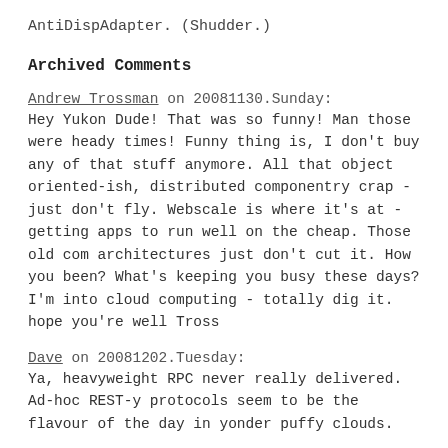AntiDispAdapter. (Shudder.)
Archived Comments
Andrew Trossman on 20081130.Sunday:
Hey Yukon Dude! That was so funny! Man those were heady times! Funny thing is, I don't buy any of that stuff anymore. All that object oriented-ish, distributed componentry crap - just don't fly. Webscale is where it's at - getting apps to run well on the cheap. Those old com architectures just don't cut it. How you been? What's keeping you busy these days? I'm into cloud computing - totally dig it. hope you're well Tross
Dave on 20081202.Tuesday:
Ya, heavyweight RPC never really delivered. Ad-hoc REST-y protocols seem to be the flavour of the day in yonder puffy clouds.